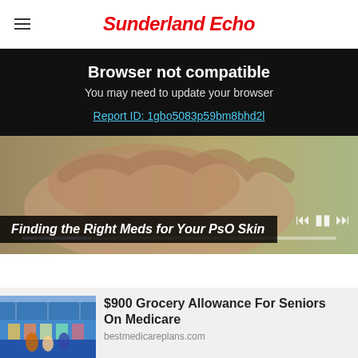Sunderland Echo
Browser not compatible
You may need to update your browser
Report ID: 1gbo5083p59bm8bhd2l
[Figure (photo): Close-up of a human hand against a soft green/yellow background, part of an advertisement slideshow with playback controls and progress bar. Caption reads: Finding the Right Meds for Your PsO Skin]
[Figure (photo): Thumbnail photo of a grocery store interior with shoppers]
$900 Grocery Allowance For Seniors On Medicare
bestmedicareplans.com